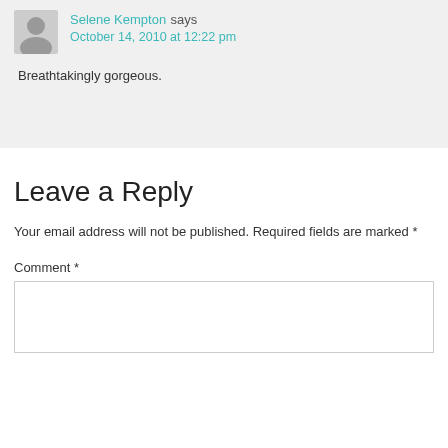Selene Kempton says October 14, 2010 at 12:22 pm
Breathtakingly gorgeous.
Leave a Reply
Your email address will not be published. Required fields are marked *
Comment *